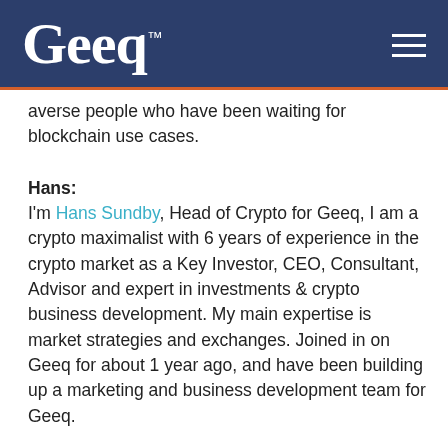Geeq™
averse people who have been waiting for blockchain use cases.
Hans:
I'm Hans Sundby, Head of Crypto for Geeq, I am a crypto maximalist with 6 years of experience in the crypto market as a Key Investor, CEO, Consultant, Advisor and expert in investments & crypto business development. My main expertise is market strategies and exchanges. Joined in on Geeq for about 1 year ago, and have been building up a marketing and business development team for Geeq.